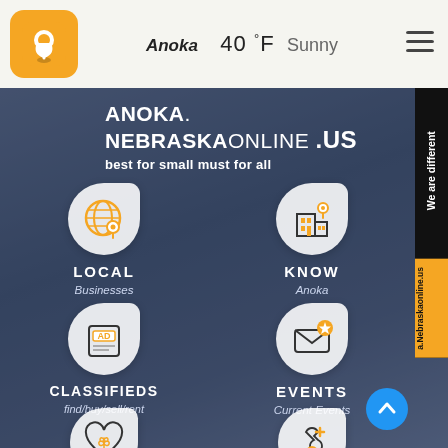Anoka  40 °F  Sunny
ANOKA. NEBRASKAONLINE.US — best for small must for all
[Figure (infographic): LOCAL - Businesses icon: globe with location pin on white rounded background]
[Figure (infographic): KNOW - Anoka: building/city with location pin on white rounded background]
[Figure (infographic): CLASSIFIEDS - find/buy/sell/rent: classified ad newspaper icon on white rounded background]
[Figure (infographic): EVENTS - Current Events: envelope with star on white rounded background]
[Figure (infographic): TRIBUTES OBITUARIES: heart with leaf on white rounded background]
[Figure (infographic): ADD BUSINESS - get free business: tools/services icon on white rounded background]
We are different a.Nebraskaonline.us